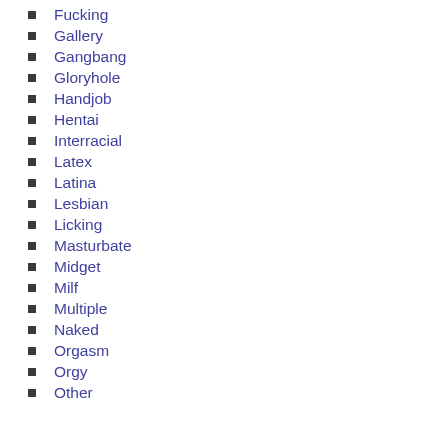Fucking
Gallery
Gangbang
Gloryhole
Handjob
Hentai
Interracial
Latex
Latina
Lesbian
Licking
Masturbate
Midget
Milf
Multiple
Naked
Orgasm
Orgy
Other